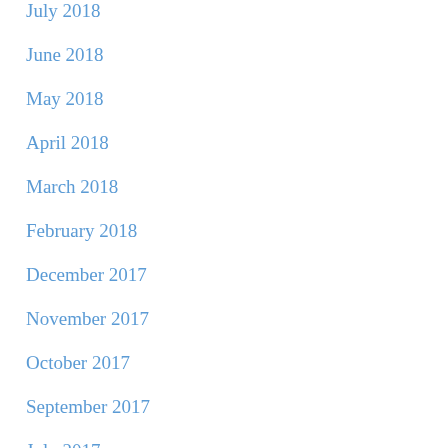July 2018
June 2018
May 2018
April 2018
March 2018
February 2018
December 2017
November 2017
October 2017
September 2017
July 2017
June 2017
May 2017